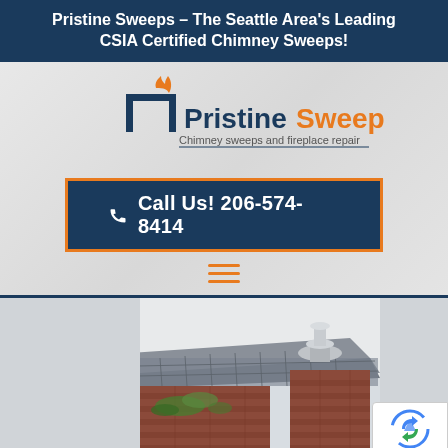Pristine Sweeps – The Seattle Area's Leading CSIA Certified Chimney Sweeps!
[Figure (logo): Pristine Sweeps logo with chimney icon and flame, text reads 'Pristine Sweeps - Chimney sweeps and fireplace repair']
Call Us! 206-574-8414
[Figure (photo): Photograph of a brick chimney top with a metal chimney cap/spark arrestor and a silver round cap on top, with green moss/ivy growing on the brick]